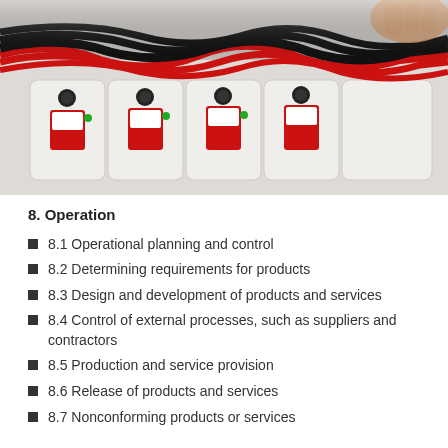[Figure (photo): Industrial electrical assembly line showing red and black cables connected to white and red components/switches/controllers mounted in a row, with a person's hand visible in the background.]
8. Operation
8.1 Operational planning and control
8.2 Determining requirements for products
8.3 Design and development of products and services
8.4 Control of external processes, such as suppliers and contractors
8.5 Production and service provision
8.6 Release of products and services
8.7 Nonconforming products or services